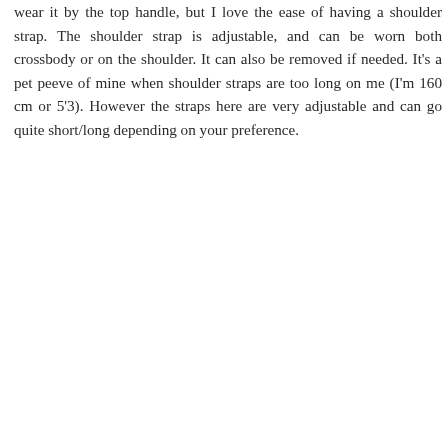wear it by the top handle, but I love the ease of having a shoulder strap. The shoulder strap is adjustable, and can be worn both crossbody or on the shoulder. It can also be removed if needed. It's a pet peeve of mine when shoulder straps are too long on me (I'm 160 cm or 5'3). However the straps here are very adjustable and can go quite short/long depending on your preference.